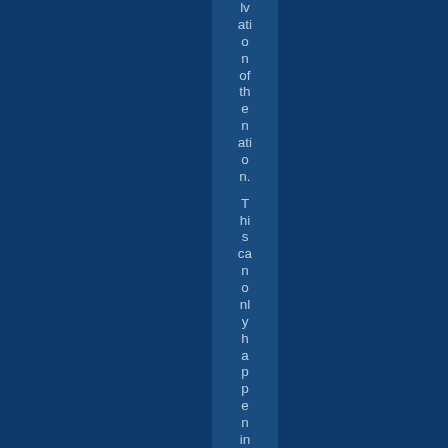lvation of the nation. This can only happen in a soci...